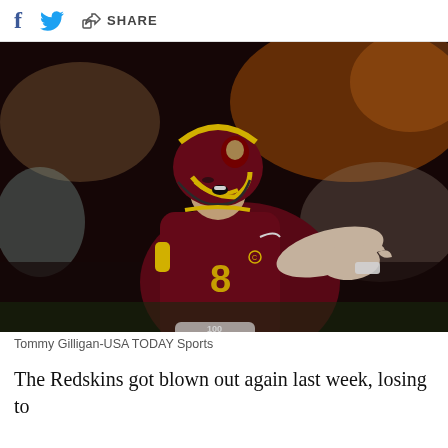f  [twitter]  [share]  SHARE
[Figure (photo): NFL quarterback wearing number 8 jersey and burgundy/gold helmet for the Washington Redskins, calling a play or reacting on the field during a game at night. Player is in burgundy uniform with yellow accents. Crowd is visible in the blurred background.]
Tommy Gilligan-USA TODAY Sports
The Redskins got blown out again last week, losing to